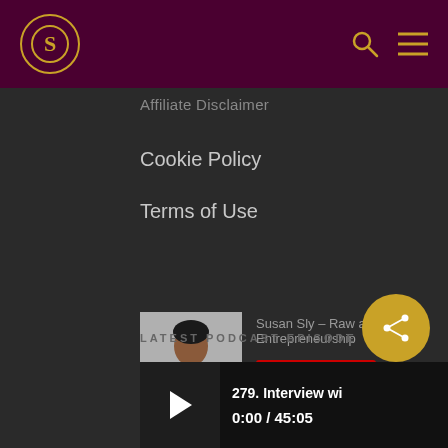S logo | Search | Menu navigation bar
Affiliate Disclaimer
Cookie Policy
Terms of Use
[Figure (screenshot): Susan Sly profile photo with YouTube channel button labeled 'Susan Sly - Raw and Real Entrepreneurship']
LATEST PODCAST EPISODE
[Figure (screenshot): Podcast player showing episode '279. Interview wi' with time 0:00 / 45:05 and a play button]